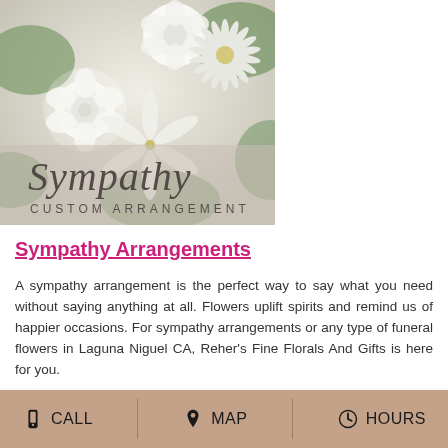[Figure (photo): Close-up photo of white flowers (roses, lilies, chrysanthemums) with green foliage, overlaid with text 'Sympathy CUSTOM ARRANGEMENT' in script and spaced-out caps fonts]
Sympathy Arrangements
A sympathy arrangement is the perfect way to say what you need without saying anything at all. Flowers uplift spirits and remind us of happier occasions. For sympathy arrangements or any type of funeral flowers in Laguna Niguel CA, Reher's Fine Florals And Gifts is here for you.
CALL  MAP  HOURS